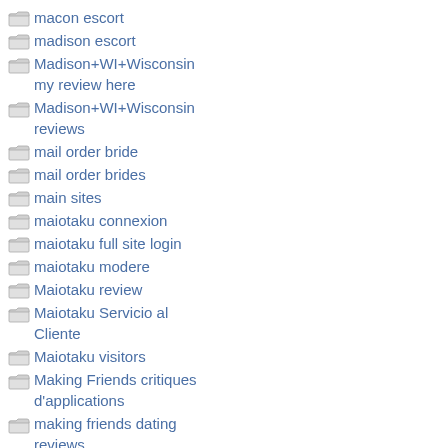macon escort
madison escort
Madison+WI+Wisconsin my review here
Madison+WI+Wisconsin reviews
mail order bride
mail order brides
main sites
maiotaku connexion
maiotaku full site login
maiotaku modere
Maiotaku review
Maiotaku Servicio al Cliente
Maiotaku visitors
Making Friends critiques d'applications
making friends dating reviews
Making Friends username
malaysiancupid bureau
Malaysiancupid hoe werkt